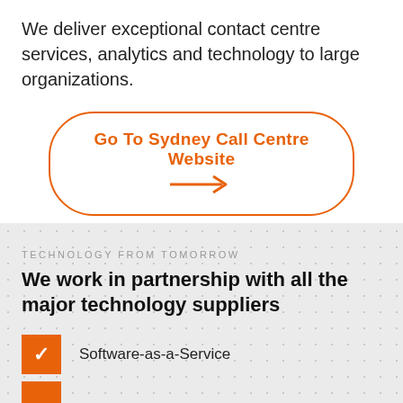We deliver exceptional contact centre services, analytics and technology to large organizations.
[Figure (other): Orange-bordered pill-shaped button with text 'Go To Sydney Call Centre Website' and an orange arrow pointing right]
TECHNOLOGY FROM TOMORROW
We work in partnership with all the major technology suppliers
Software-as-a-Service